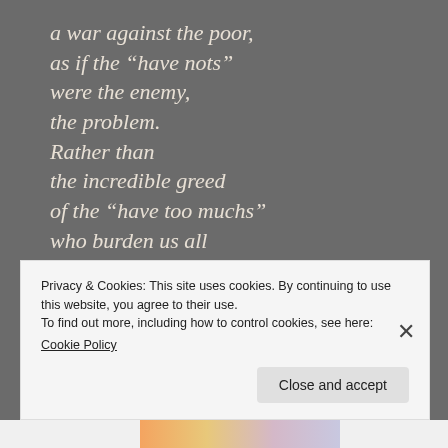a war against the poor,
as if the “have nots”
were the enemy,
the problem.
Rather than
the incredible greed
of the “have too muchs”
who burden us all
with the terrible weight
of their avarice
Privacy & Cookies: This site uses cookies. By continuing to use this website, you agree to their use.
To find out more, including how to control cookies, see here:
Cookie Policy